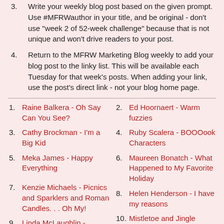3. Write your weekly blog post based on the given prompt. Use #MFRWauthor in your title, and be original - don't use "week 2 of 52-week challenge" because that is not unique and won't drive readers to your post.
4. Return to the MFRW Marketing Blog weekly to add your blog post to the linky list. This will be available each Tuesday for that week's posts. When adding your link, use the post's direct link - not your blog home page.
1. Raine Balkera - Oh Say Can You See?
2. Ed Hoornaert - Warm fuzzies
3. Cathy Brockman - I'm a Big Kid
4. Ruby Scalera - BOOOook Characters
5. Meka James - Happy Everything
6. Maureen Bonatch - What Happened to My Favorite Holiday
7. Kenzie Michaels - Picnics and Sparklers and Roman Candles. . . Oh My!
8. Helen Henderson - I have my reasons
9. Linda McLaughlin -
10. Mistletoe and Jingle